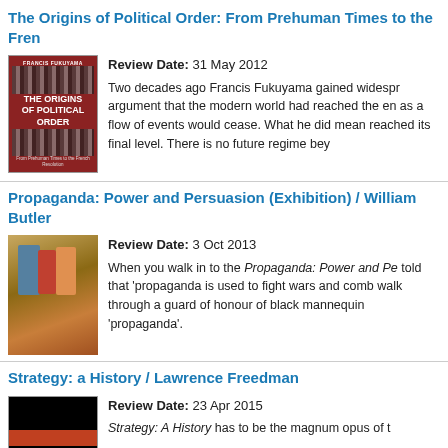The Origins of Political Order: From Prehuman Times to the French…
Review Date: 31 May 2012
Two decades ago Francis Fukuyama gained widespread … argument that the modern world had reached the en… as a flow of events would cease. What he did mean … reached its final level. There is no future regime beyo…
Propaganda: Power and Persuasion (Exhibition) / William Butler…
Review Date: 3 Oct 2013
When you walk in to the Propaganda: Power and Pe… told that 'propaganda is used to fight wars and comb… walk through a guard of honour of black mannequin… 'propaganda'.
Strategy: a History / Lawrence Freedman
Review Date: 23 Apr 2015
Strategy: A History has to be the magnum opus of t…